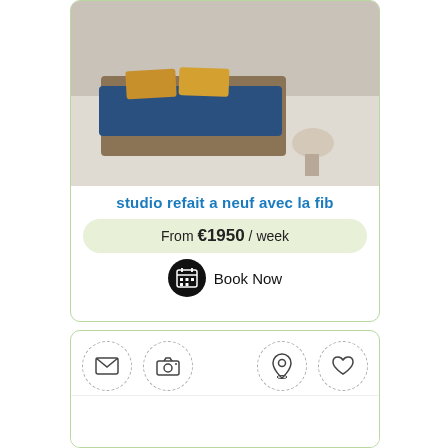[Figure (photo): Bedroom with blue patterned bedspread, yellow/mustard pillows, wooden bed frame, tiled white floor, and a small round stool/side table]
studio refait a neuf avec la fib
From €1950 / week
Book Now
[Figure (infographic): Toolbar row with four icon circles: envelope/mail icon, camera icon, location pin icon, and heart/favorite icon]